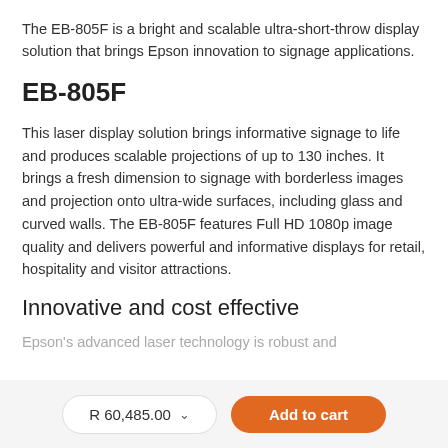The EB-805F is a bright and scalable ultra-short-throw display solution that brings Epson innovation to signage applications.
EB-805F
This laser display solution brings informative signage to life and produces scalable projections of up to 130 inches. It brings a fresh dimension to signage with borderless images and projection onto ultra-wide surfaces, including glass and curved walls. The EB-805F features Full HD 1080p image quality and delivers powerful and informative displays for retail, hospitality and visitor attractions.
Innovative and cost effective
Epson's advanced laser technology is robust and
R 60,485.00
Add to cart